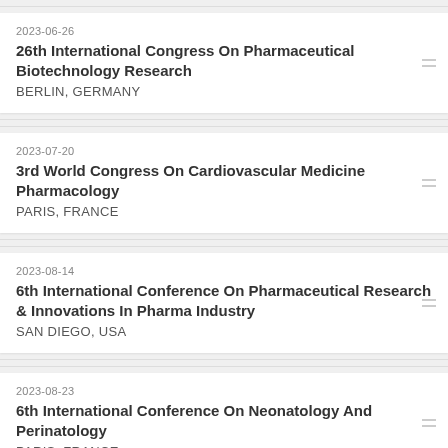2023-06-26
26th International Congress On Pharmaceutical Biotechnology Research
BERLIN, GERMANY
2023-07-20
3rd World Congress On Cardiovascular Medicine Pharmacology
PARIS, FRANCE
2023-08-14
6th International Conference On Pharmaceutical Research & Innovations In Pharma Industry
SAN DIEGO, USA
2023-08-23
6th International Conference On Neonatology And Perinatology
PARIS, FRANCE
2023-08-30